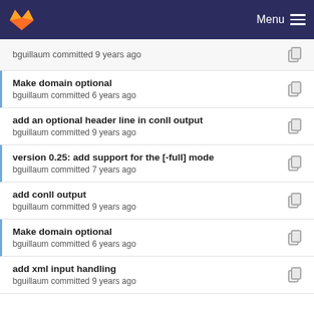GitLab — Menu
bguillaum committed 9 years ago
Make domain optional
bguillaum committed 6 years ago
add an optional header line in conll output
bguillaum committed 9 years ago
version 0.25: add support for the [-full] mode
bguillaum committed 7 years ago
add conll output
bguillaum committed 9 years ago
Make domain optional
bguillaum committed 6 years ago
add xml input handling
bguillaum committed 9 years ago